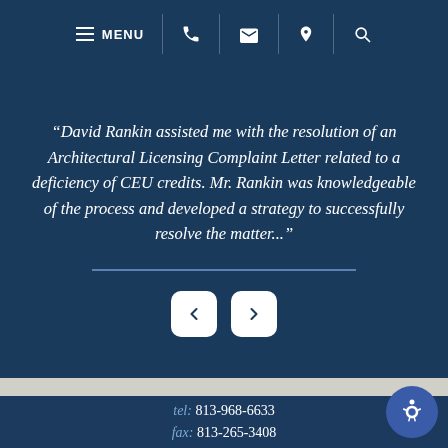MENU (navigation bar with phone, email, location, search icons)
“David Rankin assisted me with the resolution of an Architectural Licensing Complaint Letter related to a deficiency of CEU credits. Mr. Rankin was knowledgeable of the process and developed a strategy to successfully resolve the matter...”
[Figure (other): Navigation arrows: left arrow button and right arrow button for testimonial carousel]
tel: 813-968-6633
fax: 813-265-3408